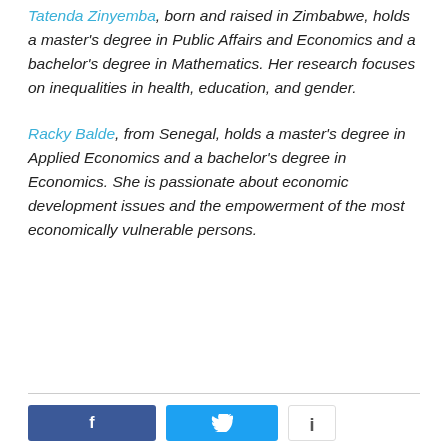Tatenda Zinyemba, born and raised in Zimbabwe, holds a master's degree in Public Affairs and Economics and a bachelor's degree in Mathematics. Her research focuses on inequalities in health, education, and gender.
Racky Balde, from Senegal, holds a master's degree in Applied Economics and a bachelor's degree in Economics. She is passionate about economic development issues and the empowerment of the most economically vulnerable persons.